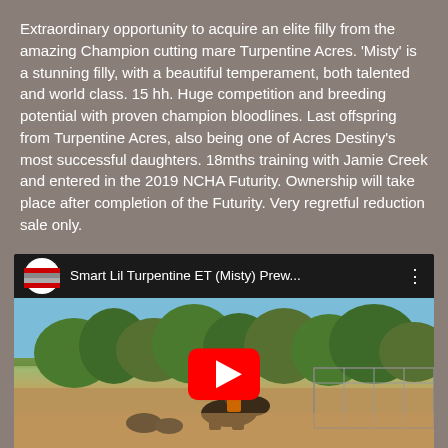Extraordinary opportunity to acquire an elite filly from the amazing Champion cutting mare Turpentine Acres. 'Misty' is a stunning filly, with a beautiful temperament, both talented and world class. 15 hh. Huge competition and breeding potential with proven champion bloodlines. Last offspring from Turpentine Acres, also being one of Acres Destiny's most successful daughters. 18mths training with Jamie Creek and entered in the 2019 NCHA Futurity. Ownership will take place after completion of the Futurity. Very regretful reduction sale only.
[Figure (screenshot): YouTube video thumbnail showing 'Smart Lil Turpentine ET (Misty) Prew...' with a scene of a horse and rider in a dusty outdoor arena with trees in the background and a red play button overlay.]